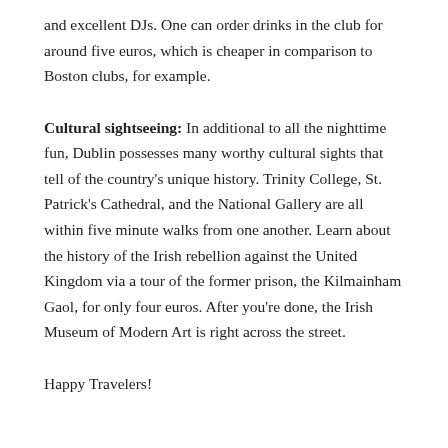and excellent DJs. One can order drinks in the club for around five euros, which is cheaper in comparison to Boston clubs, for example.
Cultural sightseeing: In additional to all the nighttime fun, Dublin possesses many worthy cultural sights that tell of the country's unique history. Trinity College, St. Patrick's Cathedral, and the National Gallery are all within five minute walks from one another. Learn about the history of the Irish rebellion against the United Kingdom via a tour of the former prison, the Kilmainham Gaol, for only four euros. After you're done, the Irish Museum of Modern Art is right across the street.
Happy Travelers!